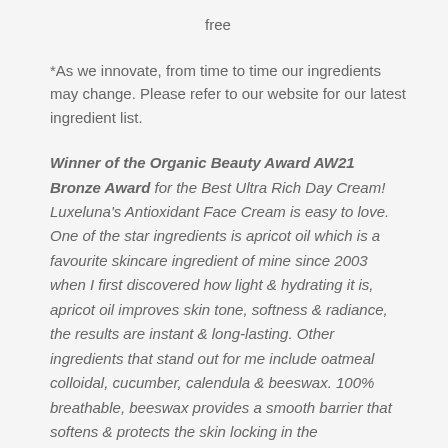free
*As we innovate, from time to time our ingredients may change. Please refer to our website for our latest ingredient list.
Winner of the Organic Beauty Award AW21 Bronze Award for the Best Ultra Rich Day Cream! Luxeluna's Antioxidant Face Cream is easy to love. One of the star ingredients is apricot oil which is a favourite skincare ingredient of mine since 2003 when I first discovered how light & hydrating it is, apricot oil improves skin tone, softness & radiance, the results are instant & long-lasting. Other ingredients that stand out for me include oatmeal colloidal, cucumber, calendula & beeswax. 100% breathable, beeswax provides a smooth barrier that softens & protects the skin locking in the